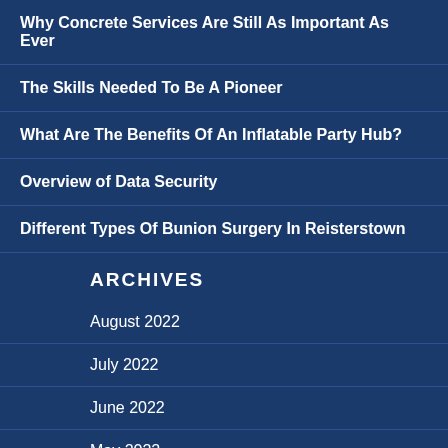Why Concrete Services Are Still As Important As Ever
The Skills Needed To Be A Pioneer
What Are The Benefits Of An Inflatable Party Hub?
Overview of Data Security
Different Types Of Bunion Surgery In Reisterstown
ARCHIVES
August 2022
July 2022
June 2022
May 2022